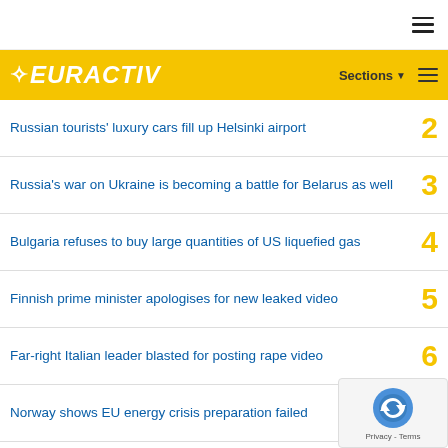EURACTIV — Sections
Russian tourists' luxury cars fill up Helsinki airport
Russia's war on Ukraine is becoming a battle for Belarus as well
Bulgaria refuses to buy large quantities of US liquefied gas
Finnish prime minister apologises for new leaked video
Far-right Italian leader blasted for posting rape video
Norway shows EU energy crisis preparation failed
Scholz's SPD lawmakers demand an end to Ukraine war, negotiations with Russia
Ukraine bans Independence Day rallies for fear of Russian rocket strikes